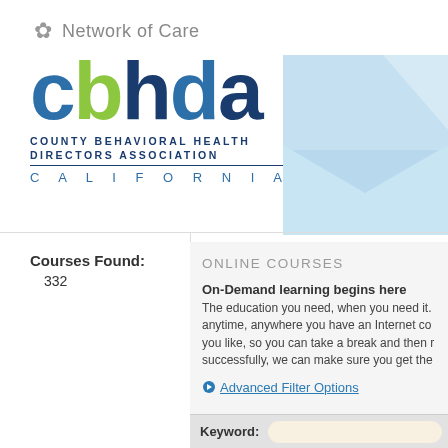[Figure (logo): Network of Care logo with snowflake icon and CBHDA (County Behavioral Health Directors Association California) logo]
Courses Found: 332
ONLINE COURSES
On-Demand learning begins here
The education you need, when you need it. anytime, anywhere you have an Internet co... you like, so you can take a break and then r... successfully, we can make sure you get the
Advanced Filter Options
Keyword: